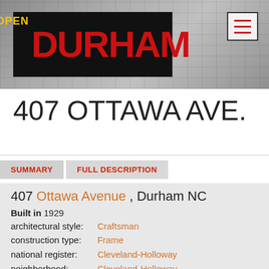[Figure (logo): Open Durham logo on black background with aerial city photo backdrop and hamburger menu icon]
407 OTTAWA AVE.
SUMMARY   FULL DESCRIPTION
407 Ottawa Avenue , Durham NC
Built in 1929
architectural style:  Craftsman
construction type:  Frame
national register:  Cleveland-Holloway
neighborhood:  Cleveland-Holloway